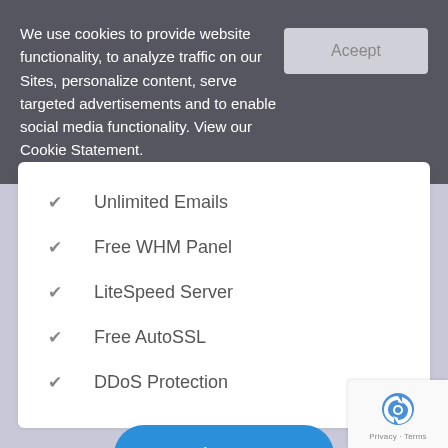We use cookies to provide website functionality, to analyze traffic on our Sites, personalize content, serve targeted advertisements and to enable social media functionality. View our Cookie Statement.
Unlimited Emails
Free WHM Panel
LiteSpeed Server
Free AutoSSL
DDoS Protection
Order Now